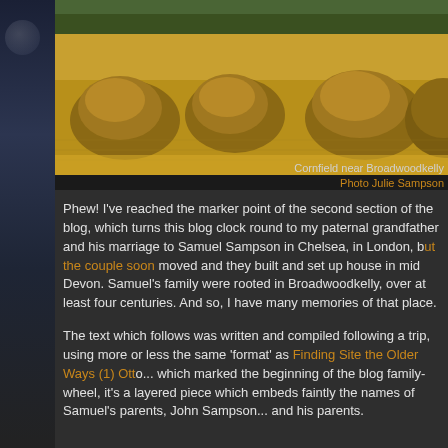[Figure (photo): Cornfield near Broadwoodkelly showing haystacks/sheaves in a golden field with green trees in background]
Cornfield near Broadwoodkelly
Photo Julie Sampson
Phew! I've reached the marker point of the second section of the blog, which turns this blog clock round to my paternal grandfather and his marriage to Samuel Sampson in Chelsea, in London, but the couple soon moved and they built and set up house in mid Devon. Samuel's family were rooted in Broadwoodkelly, over at least four centuries. And so, I have many memories of that place.
The text which follows was written and compiled following a trip, using more or less the same 'format' as Finding Site the Older Ways (1) Otto... which marked the beginning of the blog family-wheel, it's a layered piece which embeds faintly the names of Samuel's parents, John Sampso... and his parents.